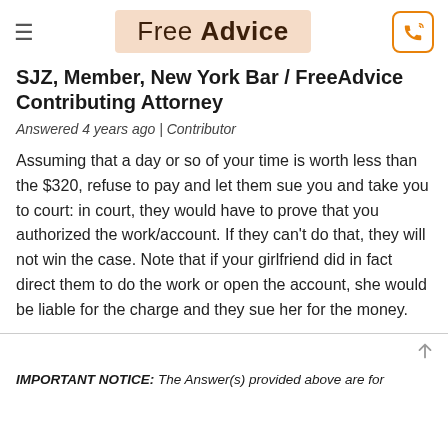Free Advice
SJZ, Member, New York Bar / FreeAdvice Contributing Attorney
Answered 4 years ago | Contributor
Assuming that a day or so of your time is worth less than the $320, refuse to pay and let them sue you and take you to court: in court, they would have to prove that you authorized the work/account. If they can't do that, they will not win the case. Note that if your girlfriend did in fact direct them to do the work or open the account, she would be liable for the charge and they sue her for the money.
IMPORTANT NOTICE: The Answer(s) provided above are for